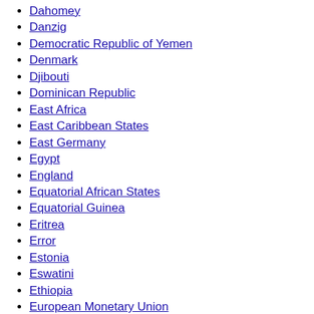Dahomey
Danzig
Democratic Republic of Yemen
Denmark
Djibouti
Dominican Republic
East Africa
East Caribbean States
East Germany
Egypt
England
Equatorial African States
Equatorial Guinea
Eritrea
Error
Estonia
Eswatini
Ethiopia
European Monetary Union
Falkland Islands
Faroe Islands
Fiji
Fiume
France
French Afars and Issas